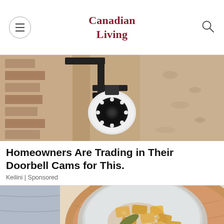Canadian Living
[Figure (photo): Security camera mounted on a wall, close-up view showing white dome camera with LED ring and black metal bracket against a textured wall]
Homeowners Are Trading in Their Doorbell Cams for This.
Keilini | Sponsored
[Figure (photo): Bowl of pasta gnocchi with sage leaves and pine nuts on a wooden board, food photography]